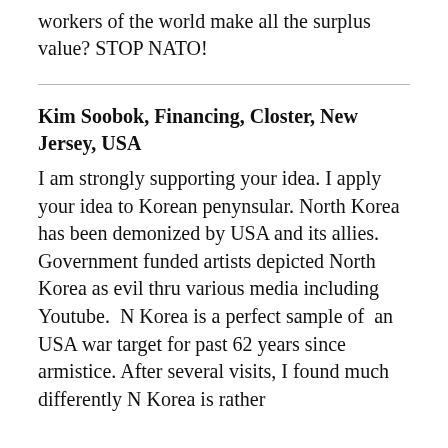workers of the world make all the surplus value? STOP NATO!
Kim Soobok, Financing, Closter, New Jersey, USA
I am strongly supporting your idea. I apply your idea to Korean penynsular. North Korea has been demonized by USA and its allies. Government funded artists depicted North Korea as evil thru various media including Youtube.  N Korea is a perfect sample of  an USA war target for past 62 years since armistice. After several visits, I found much differently N Korea is rather